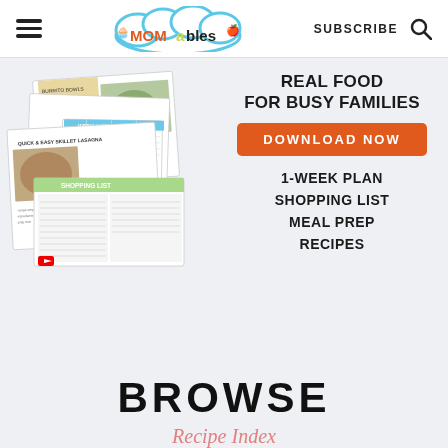MOMables — SUBSCRIBE
[Figure (infographic): Stacked recipe book pages mockup showing meal planner, shopping list, and recipe pages with food photos]
REAL FOOD FOR BUSY FAMILIES
DOWNLOAD NOW
1-WEEK PLAN
SHOPPING LIST
MEAL PREP
RECIPES
BROWSE
Recipe Index